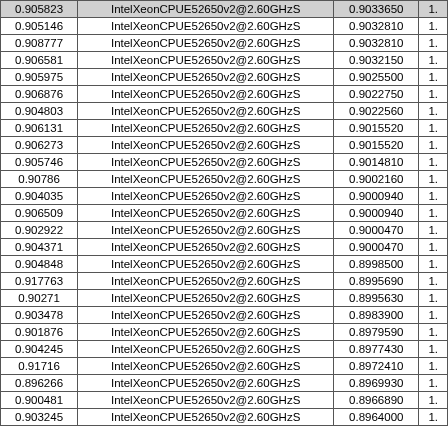| Col1 | Col2 | Col3 | Col4 |
| --- | --- | --- | --- |
| 0.905146 | IntelXeonCPUE52650v2@2.60GHzS | 0.9032810 | 1. |
| 0.908777 | IntelXeonCPUE52650v2@2.60GHzS | 0.9032810 | 1. |
| 0.906581 | IntelXeonCPUE52650v2@2.60GHzS | 0.9032150 | 1. |
| 0.905975 | IntelXeonCPUE52650v2@2.60GHzS | 0.9025500 | 1. |
| 0.906876 | IntelXeonCPUE52650v2@2.60GHzS | 0.9022750 | 1. |
| 0.904803 | IntelXeonCPUE52650v2@2.60GHzS | 0.9022560 | 1. |
| 0.906131 | IntelXeonCPUE52650v2@2.60GHzS | 0.9015520 | 1. |
| 0.906273 | IntelXeonCPUE52650v2@2.60GHzS | 0.9015520 | 1. |
| 0.905746 | IntelXeonCPUE52650v2@2.60GHzS | 0.9014810 | 1. |
| 0.90786 | IntelXeonCPUE52650v2@2.60GHzS | 0.9002160 | 1. |
| 0.904035 | IntelXeonCPUE52650v2@2.60GHzS | 0.9000940 | 1. |
| 0.906509 | IntelXeonCPUE52650v2@2.60GHzS | 0.9000940 | 1. |
| 0.902922 | IntelXeonCPUE52650v2@2.60GHzS | 0.9000470 | 1. |
| 0.904371 | IntelXeonCPUE52650v2@2.60GHzS | 0.9000470 | 1. |
| 0.904848 | IntelXeonCPUE52650v2@2.60GHzS | 0.8998500 | 1. |
| 0.917763 | IntelXeonCPUE52650v2@2.60GHzS | 0.8995690 | 1. |
| 0.90271 | IntelXeonCPUE52650v2@2.60GHzS | 0.8995630 | 1. |
| 0.903478 | IntelXeonCPUE52650v2@2.60GHzS | 0.8983900 | 1. |
| 0.901876 | IntelXeonCPUE52650v2@2.60GHzS | 0.8979590 | 1. |
| 0.904245 | IntelXeonCPUE52650v2@2.60GHzS | 0.8977430 | 1. |
| 0.91716 | IntelXeonCPUE52650v2@2.60GHzS | 0.8972410 | 1. |
| 0.896266 | IntelXeonCPUE52650v2@2.60GHzS | 0.8969930 | 1. |
| 0.900481 | IntelXeonCPUE52650v2@2.60GHzS | 0.8966890 | 1. |
| 0.903245 | IntelXeonCPUE52650v2@2.60GHzS | 0.8964000 | 1. |